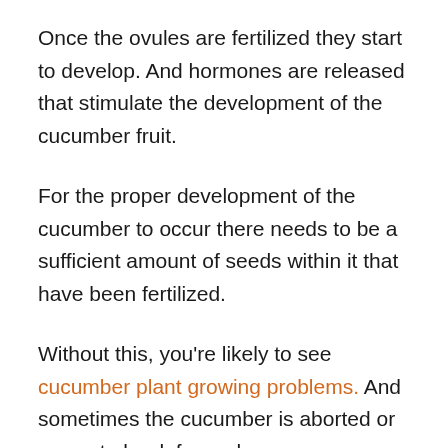Once the ovules are fertilized they start to develop. And hormones are released that stimulate the development of the cucumber fruit.
For the proper development of the cucumber to occur there needs to be a sufficient amount of seeds within it that have been fertilized.
Without this, you're likely to see cucumber plant growing problems. And sometimes the cucumber is aborted or grows to be deformed.